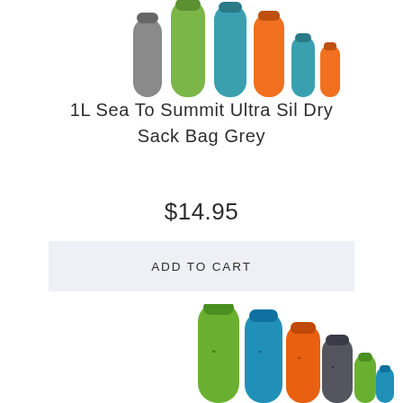[Figure (photo): Top portion of Sea To Summit dry sack bags arranged in a row, partially cropped at top, showing colorful cylindrical sacks in grey, green, teal, orange colors]
1L Sea To Summit Ultra Sil Dry Sack Bag Grey
$14.95
ADD TO CART
[Figure (photo): Sea To Summit Ultra Sil dry sack bags of various sizes arranged in a row from tallest to shortest, in green, blue, orange, grey, and small green colors, with Sea To Summit branding visible]